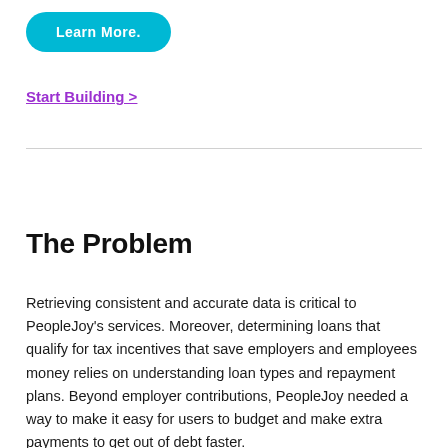[Figure (other): Teal rounded button with white bold text reading 'Learn More.']
Start Building >
The Problem
Retrieving consistent and accurate data is critical to PeopleJoy's services. Moreover, determining loans that qualify for tax incentives that save employers and employees money relies on understanding loan types and repayment plans. Beyond employer contributions, PeopleJoy needed a way to make it easy for users to budget and make extra payments to get out of debt faster.